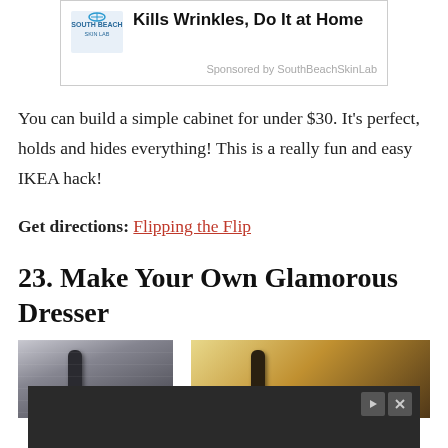[Figure (other): Advertisement box with South Beach Skin Lab logo and bold text 'Kills Wrinkles, Do It at Home' with 'Sponsored by SouthBeachSkinLab' caption]
You can build a simple cabinet for under $30. It's perfect, holds and hides everything! This is a really fun and easy IKEA hack!
Get directions: Flipping the Flip
23. Make Your Own Glamorous Dresser
[Figure (photo): Photo of dresser drawer handles — two panels showing dark metal drawer pulls]
[Figure (other): Dark advertisement banner at bottom of page with playback control buttons]